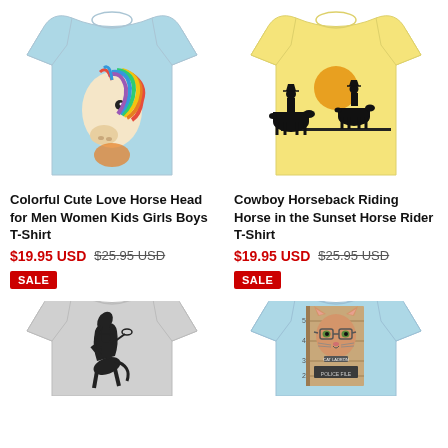[Figure (photo): Light blue t-shirt with colorful rainbow horse head graphic]
[Figure (photo): Yellow t-shirt with cowboy horseback riding silhouette at sunset graphic]
Colorful Cute Love Horse Head for Men Women Kids Girls Boys T-Shirt
$19.95 USD $25.95 USD SALE
Cowboy Horseback Riding Horse in the Sunset Horse Rider T-Shirt
$19.95 USD $25.95 USD SALE
[Figure (photo): Gray t-shirt with black and white cowboy on rearing horse graphic]
[Figure (photo): Light blue t-shirt with cat mugshot graphic]